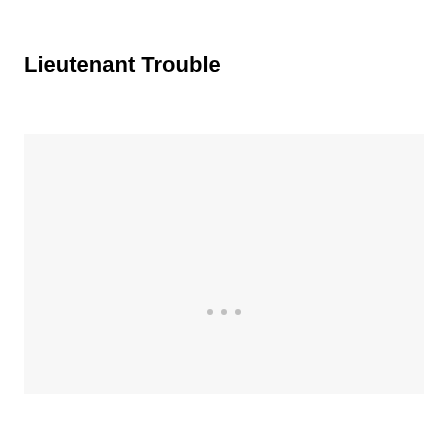Lieutenant Trouble
[Figure (other): A large light gray rectangular placeholder image area with three small gray dots centered near the bottom of the box.]